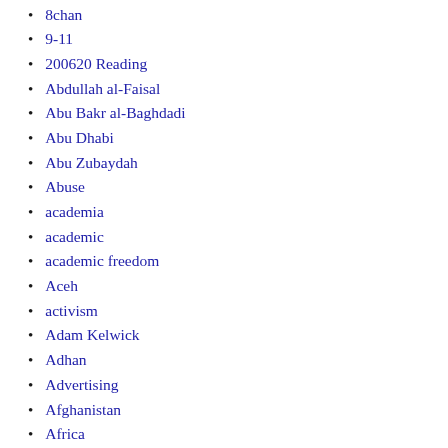8chan
9-11
200620 Reading
Abdullah al-Faisal
Abu Bakr al-Baghdadi
Abu Dhabi
Abu Zubaydah
Abuse
academia
academic
academic freedom
Aceh
activism
Adam Kelwick
Adhan
Advertising
Afghanistan
Africa
Ahmadiyyah
Ahmed bin Qasim Al Ghamdi.
Ahmed Raïssouni
AI
al-Azhar
al-Muhajiroun